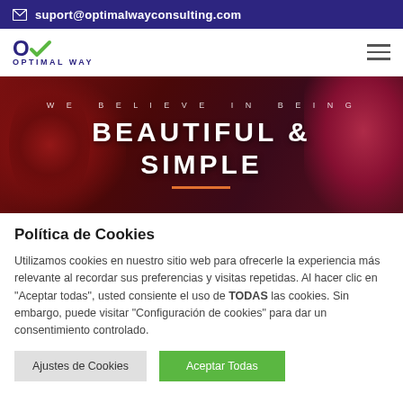suport@optimalwayconsulting.com
[Figure (logo): Optimal Way logo with OW checkmark icon and OPTIMAL WAY text, plus hamburger menu icon]
[Figure (photo): Hero banner with red flowers background, text 'WE BELIEVE IN BEING' and 'BEAUTIFUL & SIMPLE' in white bold uppercase letters]
Política de Cookies
Utilizamos cookies en nuestro sitio web para ofrecerle la experiencia más relevante al recordar sus preferencias y visitas repetidas. Al hacer clic en "Aceptar todas", usted consiente el uso de TODAS las cookies. Sin embargo, puede visitar "Configuración de cookies" para dar un consentimiento controlado.
Ajustes de Cookies | Aceptar Todas